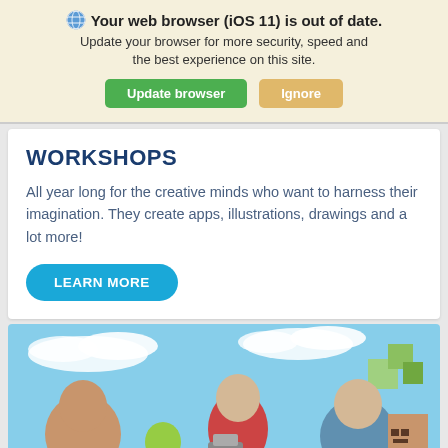🌐 Your web browser (iOS 11) is out of date. Update your browser for more security, speed and the best experience on this site. [Update browser] [Ignore]
WORKSHOPS
All year long for the creative minds who want to harness their imagination. They create apps, illustrations, drawings and a lot more!
LEARN MORE
[Figure (photo): Children with tech toys including Android mascot, a robot, a Minecraft character, set against a blue sky background]